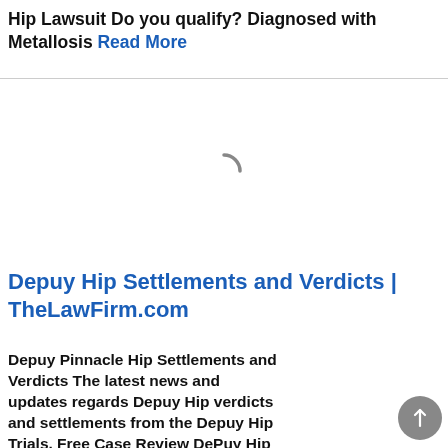Hip Lawsuit Do you qualify? Diagnosed with Metallosis Read More
[Figure (other): Loading spinner (circular arc) indicating content is loading]
Depuy Hip Settlements and Verdicts | TheLawFirm.com
Depuy Pinnacle Hip Settlements and Verdicts The latest news and updates regards Depuy Hip verdicts and settlements from the Depuy Hip Trials. Free Case Review DePuy Hip Settlement